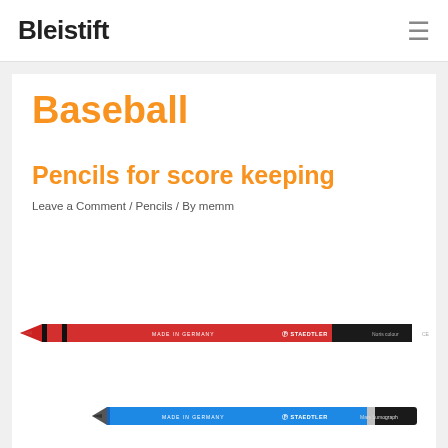Bleistift
Baseball
Pencils for score keeping
Leave a Comment / Pencils / By memm
[Figure (photo): Three STAEDTLER pencils on white background: a red and black Noris colour pencil, a blue and black Mars Lumograph pencil, and a partial view of a red pencil at the bottom.]